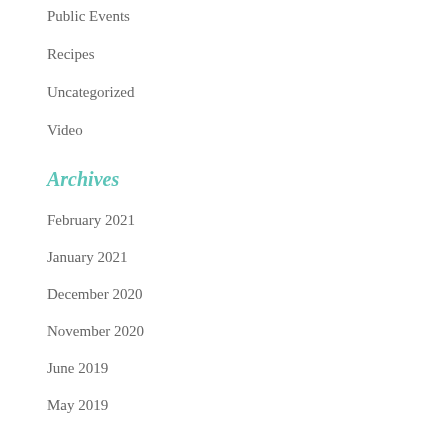Public Events
Recipes
Uncategorized
Video
Archives
February 2021
January 2021
December 2020
November 2020
June 2019
May 2019
April 2019
March 2019
February 2019